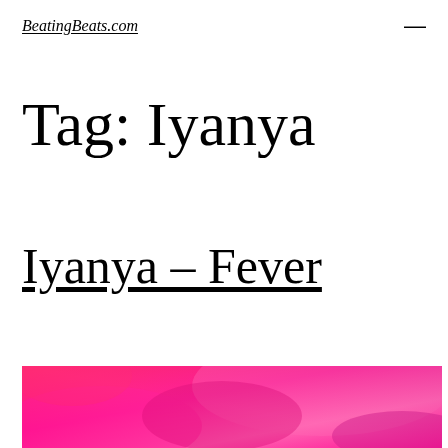BeatingBeats.com
Tag: Iyanya
Iyanya – Fever
[Figure (photo): Colorful abstract/artistic image with pink, magenta and red hues, partially visible at bottom of page]